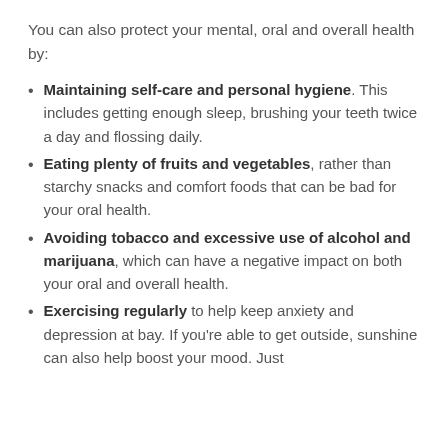You can also protect your mental, oral and overall health by:
Maintaining self-care and personal hygiene. This includes getting enough sleep, brushing your teeth twice a day and flossing daily.
Eating plenty of fruits and vegetables, rather than starchy snacks and comfort foods that can be bad for your oral health.
Avoiding tobacco and excessive use of alcohol and marijuana, which can have a negative impact on both your oral and overall health.
Exercising regularly to help keep anxiety and depression at bay. If you're able to get outside, sunshine can also help boost your mood. Just